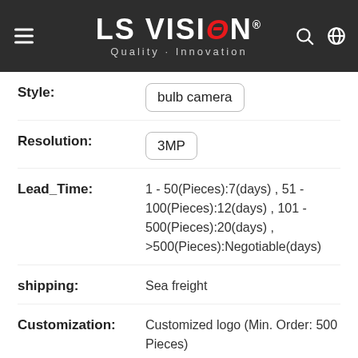[Figure (logo): LS VISION logo with Quality Innovation tagline on dark background header with menu icon, search icon and globe icon]
Style: bulb camera
Resolution: 3MP
Lead_Time: 1 - 50(Pieces):7(days) , 51 - 100(Pieces):12(days) , 101 - 500(Pieces):20(days) , >500(Pieces):Negotiable(days)
shipping: Sea freight
Customization: Customized logo (Min. Order: 500 Pieces)
Price: 5-99 PiecesUS$34.95 , 100-199 PiecesUS$32.95 , >=200 PiecesUS$30.95